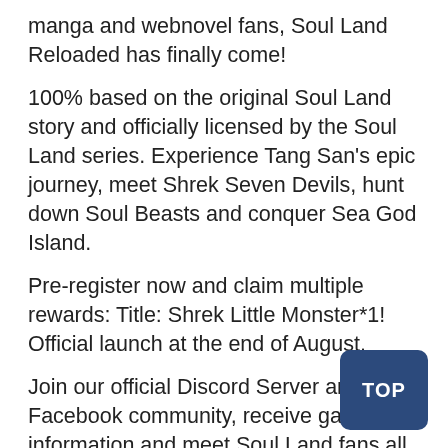manga and webnovel fans, Soul Land Reloaded has finally come!
100% based on the original Soul Land story and officially licensed by the Soul Land series. Experience Tang San's epic journey, meet Shrek Seven Devils, hunt down Soul Beasts and conquer Sea God Island.
Pre-register now and claim multiple rewards: Title: Shrek Little Monster*1! Official launch at the end of August.
Join our official Discord Server and Facebook community, receive game information and meet Soul Land fans all over the world!
Participate in community events, win amazon gift cards and nitro!
FB：https://www.facebook.com/SoulLandReloaded/
DC：https://discord.gg/jxYaXpgQkF
Game Features:
[Official Copyright License]
Soul Land Reloaded is in direct cooperation with the Soul Land